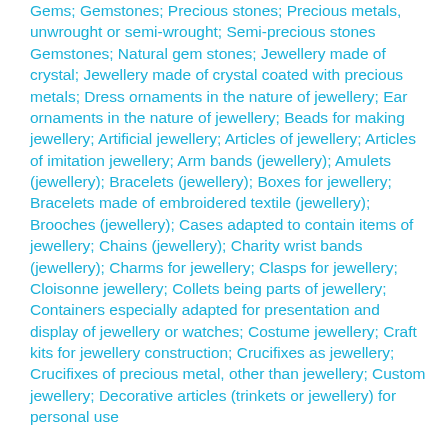Gems; Gemstones; Precious stones; Precious metals, unwrought or semi-wrought; Semi-precious stones Gemstones; Natural gem stones; Jewellery made of crystal; Jewellery made of crystal coated with precious metals; Dress ornaments in the nature of jewellery; Ear ornaments in the nature of jewellery; Beads for making jewellery; Artificial jewellery; Articles of jewellery; Articles of imitation jewellery; Arm bands (jewellery); Amulets (jewellery); Bracelets (jewellery); Boxes for jewellery; Bracelets made of embroidered textile (jewellery); Brooches (jewellery); Cases adapted to contain items of jewellery; Chains (jewellery); Charity wrist bands (jewellery); Charms for jewellery; Clasps for jewellery; Cloisonne jewellery; Collets being parts of jewellery; Containers especially adapted for presentation and display of jewellery or watches; Costume jewellery; Craft kits for jewellery construction; Crucifixes as jewellery; Crucifixes of precious metal, other than jewellery; Custom jewellery; Decorative articles (trinkets or jewellery) for personal use